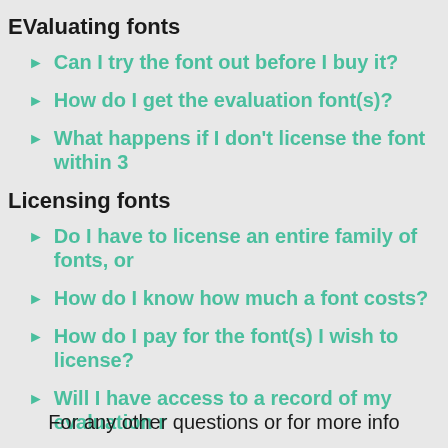EValuating fonts
Can I try the font out before I buy it?
How do I get the evaluation font(s)?
What happens if I don't license the font within 3
Licensing fonts
Do I have to license an entire family of fonts, or
How do I know how much a font costs?
How do I pay for the font(s) I wish to license?
Will I have access to a record of my evaluation r
For any other questions or for more info